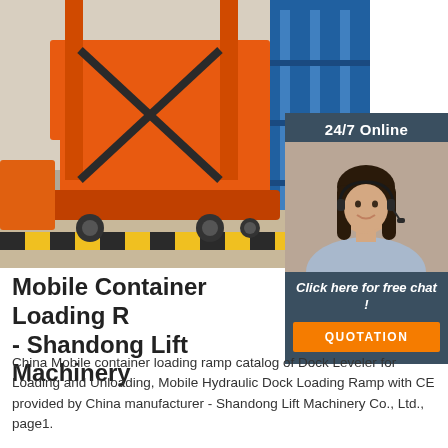[Figure (photo): Orange mobile container loading ramp / dock leveler machine in a warehouse setting, with blue storage racks in background. Heavy industrial equipment with orange frame and wheels.]
[Figure (photo): Customer service representative with headset smiling, shown in a 24/7 online chat widget panel with dark blue-gray background, 'Click here for free chat!' text, and orange QUOTATION button.]
Mobile Container Loading R... - Shandong Lift Machinery
China Mobile container loading ramp catalog of Dock Leveler for Loading and Unloading, Mobile Hydraulic Dock Loading Ramp with CE provided by China manufacturer - Shandong Lift Machinery Co., Ltd., page1.